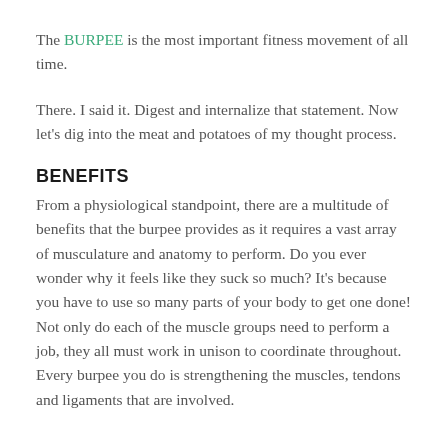The BURPEE is the most important fitness movement of all time.
There. I said it. Digest and internalize that statement. Now let's dig into the meat and potatoes of my thought process.
BENEFITS
From a physiological standpoint, there are a multitude of benefits that the burpee provides as it requires a vast array of musculature and anatomy to perform. Do you ever wonder why it feels like they suck so much? It's because you have to use so many parts of your body to get one done! Not only do each of the muscle groups need to perform a job, they all must work in unison to coordinate throughout. Every burpee you do is strengthening the muscles, tendons and ligaments that are involved.